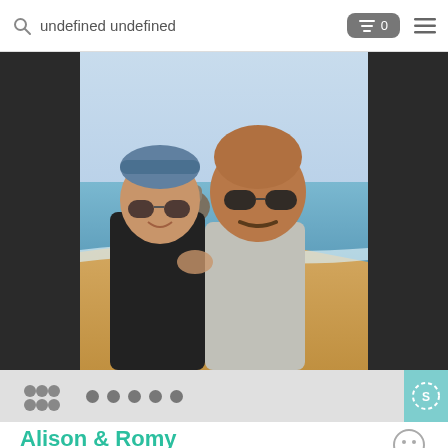undefined undefined
[Figure (photo): A couple (woman and man) taking a selfie on a sunny beach. The woman wears a colorful headband and sunglasses; the man is bald with a mustache and sunglasses. Beach and rocky island visible in background.]
Alison & Romy
Retired teachers
Hello, We are a fit and healthy mature couple who have been happily married for 34 years and have two grown